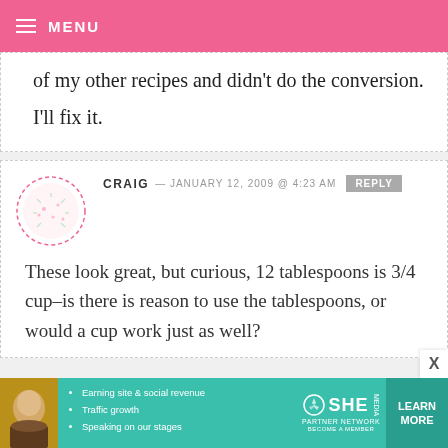MENU
of my other recipes and didn't do the conversion.
I'll fix it.
CRAIG — JANUARY 12, 2009 @ 4:23 AM  REPLY
These look great, but curious, 12 tablespoons is 3/4 cup–is there is reason to use the tablespoons, or would a cup work just as well?
[Figure (infographic): SHE Partner Network advertisement banner with woman photo, bullet points about earning site & social revenue, traffic growth, speaking on stages, SHE logo, and LEARN MORE button]